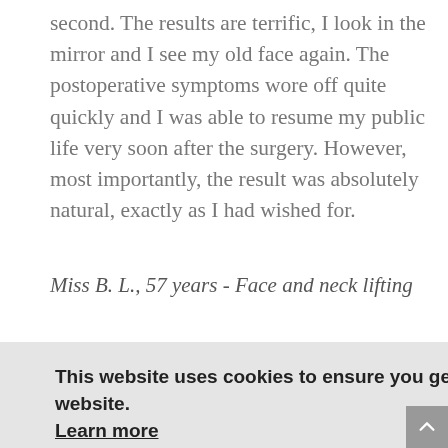second. The results are terrific, I look in the mirror and I see my old face again. The postoperative symptoms wore off quite quickly and I was able to resume my public life very soon after the surgery. However, most importantly, the result was absolutely natural, exactly as I had wished for.
Miss B. L., 57 years  -  Face and neck lifting
This website uses cookies to ensure you get the best experience on our website. Learn more
Accept
botox treatment. They were completely worth it!